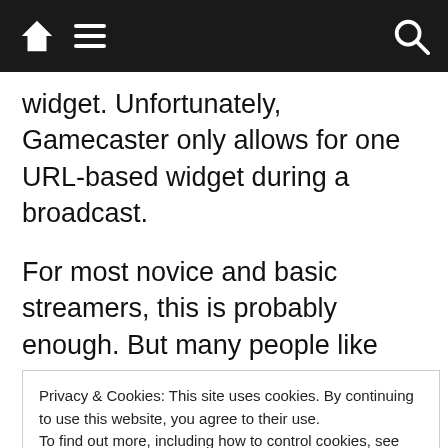Navigation bar with home, menu, and search icons
widget. Unfortunately, Gamecaster only allows for one URL-based widget during a broadcast.
For most novice and basic streamers, this is probably enough. But many people like adding other external functions and overlays into the stream, and many use URL-based functions. In this instance, Broadcaster is much better to use.
Performance
Privacy & Cookies: This site uses cookies. By continuing to use this website, you agree to their use.
To find out more, including how to control cookies, see here: Cookie Policy
and laptops.